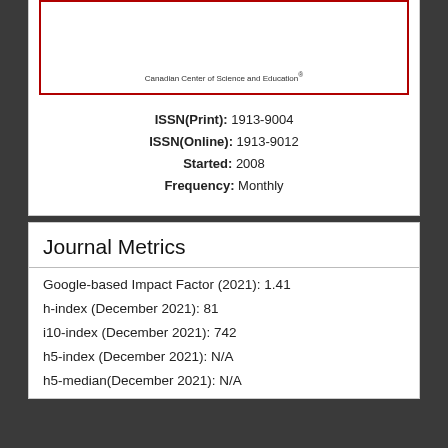[Figure (other): Journal cover image area with red border and text 'Canadian Center of Science and Education®' at the bottom]
ISSN(Print): 1913-9004
ISSN(Online): 1913-9012
Started: 2008
Frequency: Monthly
Journal Metrics
Google-based Impact Factor (2021): 1.41
h-index (December 2021): 81
i10-index (December 2021): 742
h5-index (December 2021): N/A
h5-median(December 2021): N/A